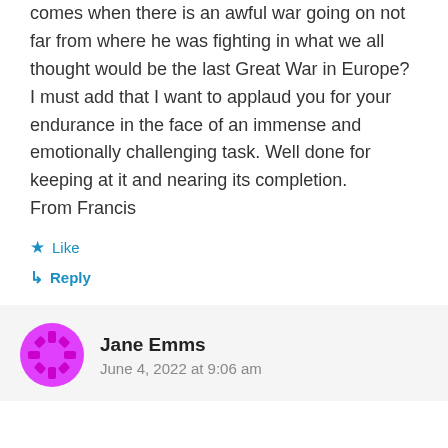comes when there is an awful war going on not far from where he was fighting in what we all thought would be the last Great War in Europe? I must add that I want to applaud you for your endurance in the face of an immense and emotionally challenging task. Well done for keeping at it and nearing its completion.
From Francis
★ Like
↳ Reply
Jane Emms
June 4, 2022 at 9:06 am